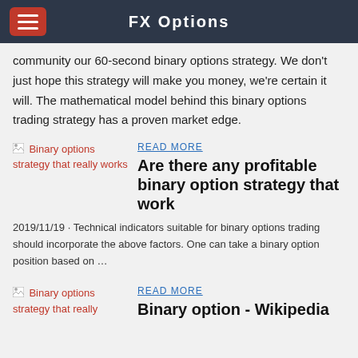FX Options
community our 60-second binary options strategy. We don't just hope this strategy will make you money, we're certain it will. The mathematical model behind this binary options trading strategy has a proven market edge.
[Figure (other): Broken image placeholder for 'Binary options strategy that really works']
READ MORE
Are there any profitable binary option strategy that work
2019/11/19 · Technical indicators suitable for binary options trading should incorporate the above factors. One can take a binary option position based on …
[Figure (other): Broken image placeholder for 'Binary options strategy that really']
READ MORE
Binary option - Wikipedia